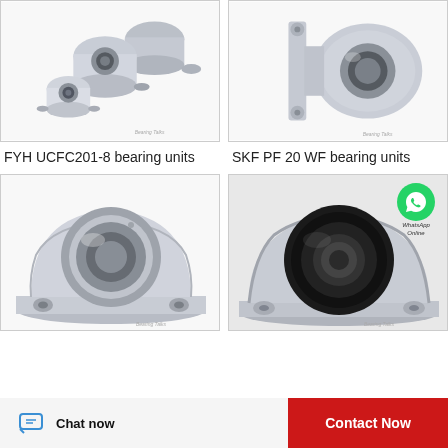[Figure (photo): FYH UCFC201-8 pillow block bearing units, multiple silver metallic housings with bearing inserts shown on white background. Bearing Talks watermark.]
[Figure (photo): SKF PF 20 WF flanged bearing unit, silver metallic housing with two bolt holes shown on white background. Bearing Talks watermark.]
FYH UCFC201-8 bearing units
SKF PF 20 WF bearing units
[Figure (photo): Silver metallic pillow block bearing unit with stainless steel insert, close-up side view on white background. Bearing Talks watermark.]
[Figure (photo): Silver/gray pillow block bearing unit with large black rubber-sealed bearing insert, close-up view. WhatsApp Online overlay icon visible. Bearing Talks watermark.]
Chat now
Contact Now